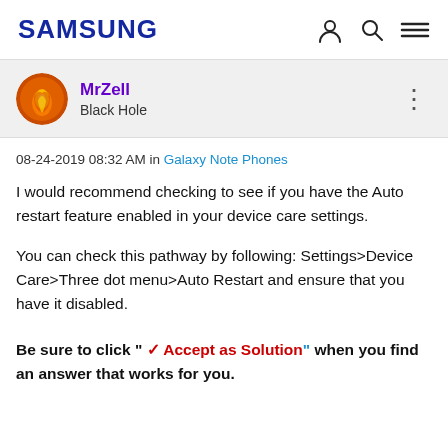SAMSUNG
MrZell
Black Hole
08-24-2019 08:32 AM in Galaxy Note Phones
I would recommend checking to see if you have the Auto restart feature enabled in your device care settings.
You can check this pathway by following: Settings>Device Care>Three dot menu>Auto Restart and ensure that you have it disabled.
Be sure to click " ✓ Accept as Solution" when you find an answer that works for you.